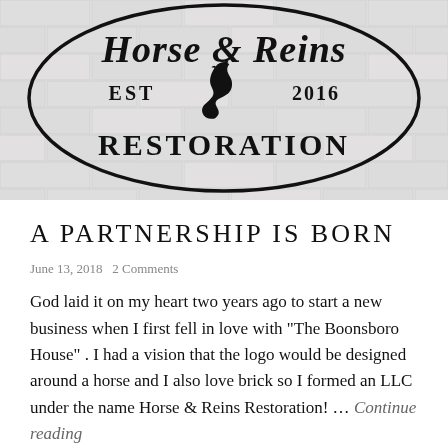[Figure (logo): Horse & Reins Restoration logo — oval black border on white/grey brick background, large serif text reading 'Horse & Reins' at top, 'EST 2016' in middle with a black horse head silhouette, 'RESTORATION' in large capitals at bottom]
A PARTNERSHIP IS BORN
June 13, 2018   2 Comments
God laid it on my heart two years ago to start a new business when I first fell in love with "The Boonsboro House" . I had a vision that the logo would be designed around a horse and I also love brick so I formed an LLC under the name Horse & Reins Restoration! … Continue reading